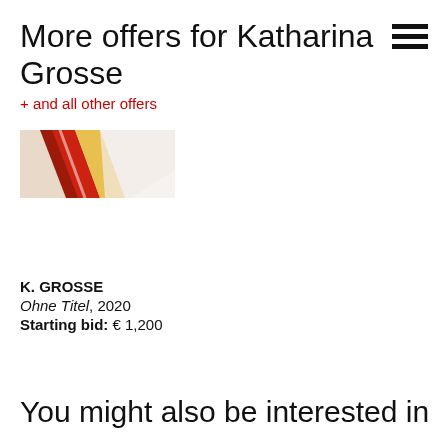More offers for Katharina Grosse
+ and all other offers
[Figure (photo): Partial view of a colorful artwork by Katharina Grosse with red, white and yellow paint strokes]
K. GROSSE
Ohne Titel, 2020
Starting bid: € 1,200
You might also be interested in